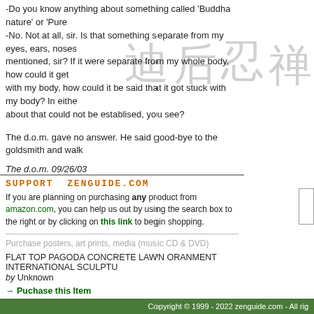-Do you know anything about something called 'Buddha nature' or 'Pure...
-No. Not at all, sir. Is that something separate from my eyes, ears, noses mentioned, sir? If it were separate from my whole body, how could it get with my body, how could it be said that it got stuck with my body? In either about that could not be establised, you see?
The d.o.m. gave no answer. He said good-bye to the goldsmith and walk
The d.o.m. 09/26/03
[Figure (illustration): Chinese/Japanese kanji characters watermark on right side: 禅, 忍, 后, 迪]
SUPPORT ZENGUIDE.COM
If you are planning on purchasing any product from amazon.com, you can help us out by using the search box to the right or by clicking on this link to begin shopping.
Purchase posters, art prints, media (music CD & DVD)
FLAT TOP PAGODA CONCRETE LAWN ORANMENT INTERNATIONAL SCULPTU
by Unknown
→ Puchase this Item
→ More Art Prints & Media
→ Zen & Buddhism books
Copyright © 1999 - 2022 zenguide.com - All rig